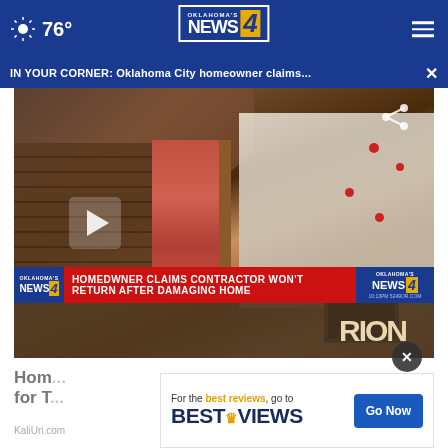76° Oklahoma's News 4
IN YOUR CORNER: Oklahoma City homeowner claims...
[Figure (screenshot): TV news video player showing a damaged home with exposed insulation and framing. Lower third chyron reads: HOMEDWNER CLAIMS CONTRACTOR WON'T RETURN AFTER DAMAGING HOME with Oklahoma's News 4 logo.]
Hom... ns for T...
KaliUri.com
For the best reviews, go to BESTREVIEWS